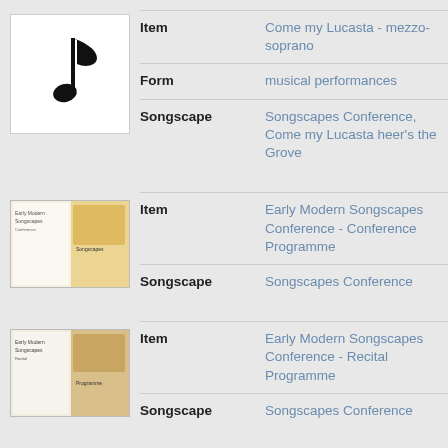[Figure (illustration): Music note icon - eighth note on white background with border]
Item: Come my Lucasta - mezzo-soprano
Form: musical performances
Songscape: Songscapes Conference, Come my Lucasta heer's the Grove
[Figure (photo): Thumbnail image of conference programme document with decorative header]
Item: Early Modern Songscapes Conference - Conference Programme
Songscape: Songscapes Conference
[Figure (photo): Thumbnail image of recital programme document]
Item: Early Modern Songscapes Conference - Recital Programme
Songscape: Songscapes Conference